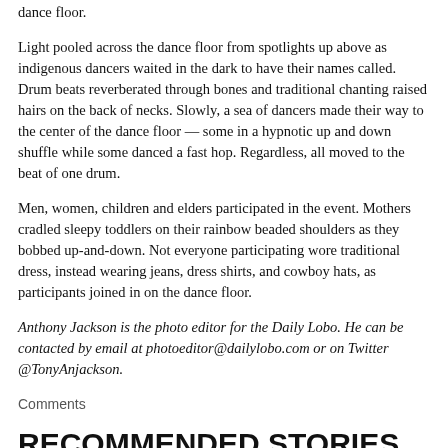dance floor.
Light pooled across the dance floor from spotlights up above as indigenous dancers waited in the dark to have their names called. Drum beats reverberated through bones and traditional chanting raised hairs on the back of necks. Slowly, a sea of dancers made their way to the center of the dance floor — some in a hypnotic up and down shuffle while some danced a fast hop. Regardless, all moved to the beat of one drum.
Men, women, children and elders participated in the event. Mothers cradled sleepy toddlers on their rainbow beaded shoulders as they bobbed up-and-down. Not everyone participating wore traditional dress, instead wearing jeans, dress shirts, and cowboy hats, as participants joined in on the dance floor.
Anthony Jackson is the photo editor for the Daily Lobo. He can be contacted by email at photoeditor@dailylobo.com or on Twitter @TonyAnjackson.
Comments
RECOMMENDED STORIES
Pink Rhino owner helps keep Albuquerque unique
By: Madeline Pukite | Aug 29
Women bring the thunder to bare knuckle fighting